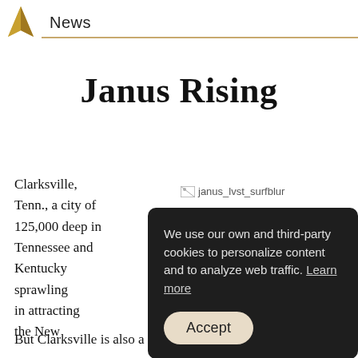News
Janus Rising
[Figure (photo): Broken image placeholder labeled 'janus_lvst_surfblur']
Clarksville, Tenn., a city of 125,000 deep in Tennessee and Kentucky sprawling in attracting the New
We use our own and third-party cookies to personalize content and to analyze web traffic. Learn more
Accept
But Clarksville is also a place that represents the perfect